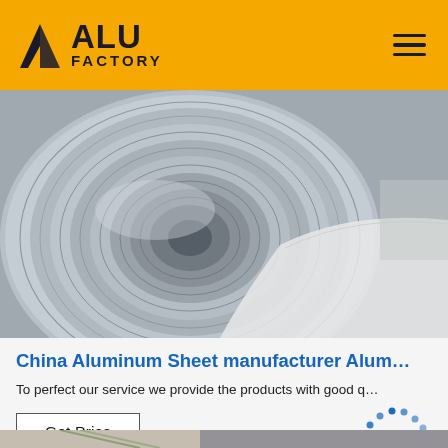ALU FACTORY
[Figure (photo): Close-up of a large aluminum coil roll showing the spiral layers and central core hole, with white protective paper visible at the edge.]
China Aluminum Sheet manufacturer Alum…
To perfect our service we provide the products with good q…
[Figure (logo): TOP badge icon with dots arranged in an arc above the word TOP in blue.]
[Figure (photo): Partial view of another product photo at the bottom of the page.]